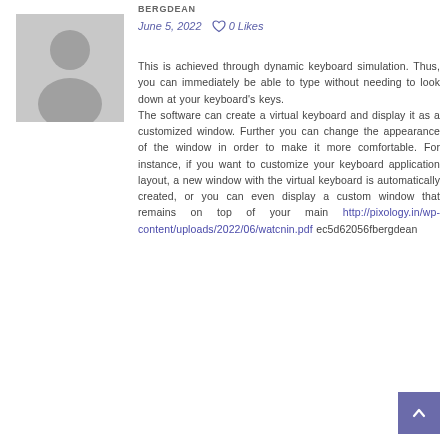[Figure (photo): Grey placeholder avatar silhouette image]
BERGDEAN
June 5, 2022   ♡ 0 Likes
This is achieved through dynamic keyboard simulation. Thus, you can immediately be able to type without needing to look down at your keyboard's keys.
The software can create a virtual keyboard and display it as a customized window. Further you can change the appearance of the window in order to make it more comfortable. For instance, if you want to customize your keyboard application layout, a new window with the virtual keyboard is automatically created, or you can even display a custom window that remains on top of your main http://pixology.in/wp-content/uploads/2022/06/watcnin.pdf ec5d62056fbergdean